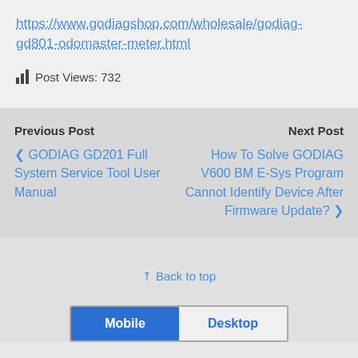https://www.godiagshop.com/wholesale/godiag-gd801-odomaster-meter.html
Post Views: 732
Previous Post
Next Post
GODIAG GD201 Full System Service Tool User Manual
How To Solve GODIAG V600 BM E-Sys Program Cannot Identify Device After Firmware Update?
Back to top
Mobile   Desktop